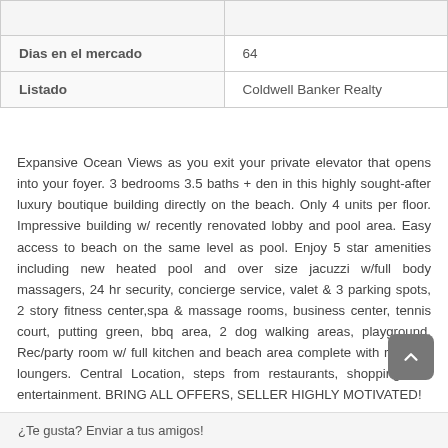|  |  |
| --- | --- |
|  |  |
| Dias en el mercado | 64 |
| Listado | Coldwell Banker Realty |
Expansive Ocean Views as you exit your private elevator that opens into your foyer. 3 bedrooms 3.5 baths + den in this highly sought-after luxury boutique building directly on the beach. Only 4 units per floor. Impressive building w/ recently renovated lobby and pool area. Easy access to beach on the same level as pool. Enjoy 5 star amenities including new heated pool and over size jacuzzi w/full body massagers, 24 hr security, concierge service, valet & 3 parking spots, 2 story fitness center,spa & massage rooms, business center, tennis court, putting green, bbq area, 2 dog walking areas, playground, Rec/party room w/ full kitchen and beach area complete with resident loungers. Central Location, steps from restaurants, shopping and entertainment. BRING ALL OFFERS, SELLER HIGHLY MOTIVATED!
¿Te gusta? Enviar a tus amigos!